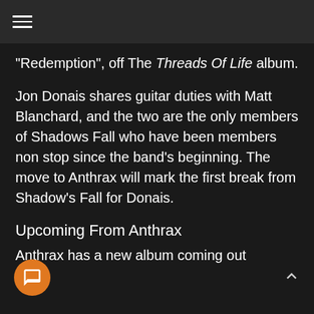≡
“Redemption”, off The Threads Of Life album.
Jon Donais shares guitar duties with Matt Blanchard, and the two are the only members of Shadows Fall who have been members non stop since the band’s beginning. The move to Anthrax will mark the first break from Shadow’s Fall for Donais.
Upcoming From Anthrax
Anthrax has a new album coming out